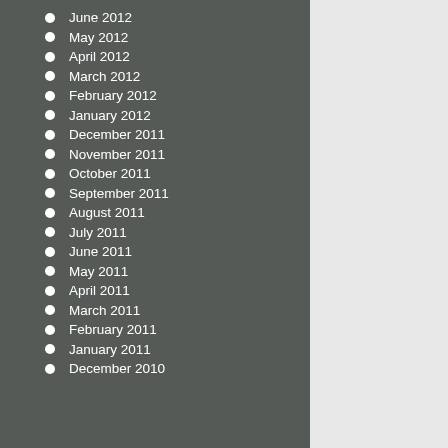June 2012
May 2012
April 2012
March 2012
February 2012
January 2012
December 2011
November 2011
October 2011
September 2011
August 2011
July 2011
June 2011
May 2011
April 2011
March 2011
February 2011
January 2011
December 2010